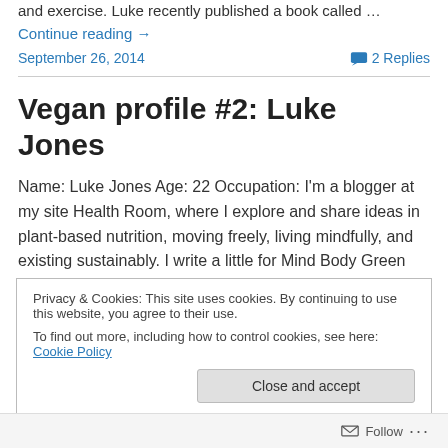and exercise. Luke recently published a book called … Continue reading →
September 26, 2014   💬 2 Replies
Vegan profile #2: Luke Jones
Name: Luke Jones Age: 22 Occupation: I'm a blogger at my site Health Room, where I explore and share ideas in plant-based nutrition, moving freely, living mindfully, and existing sustainably. I write a little for Mind Body Green
Privacy & Cookies: This site uses cookies. By continuing to use this website, you agree to their use. To find out more, including how to control cookies, see here: Cookie Policy
Close and accept
Follow